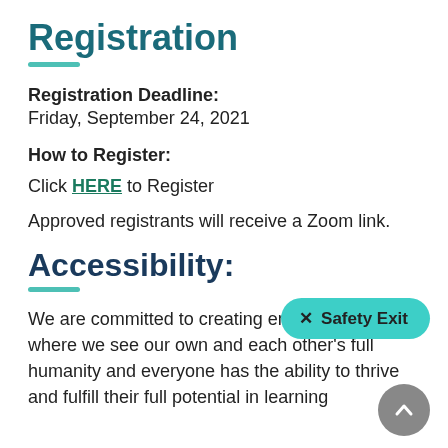Registration
Registration Deadline: Friday, September 24, 2021
How to Register:
Click HERE to Register
Approved registrants will receive a Zoom link.
Accessibility:
We are committed to creating environments where we see our own and each other's full humanity and everyone has the ability to thrive and fulfill their full potential in learning